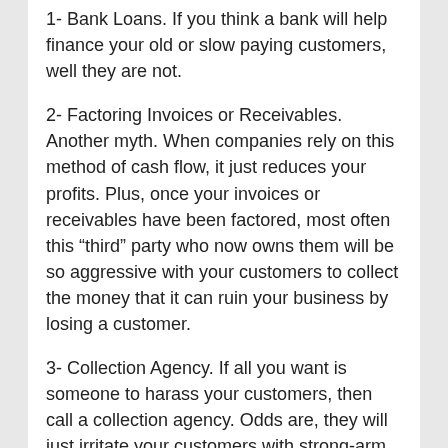1- Bank Loans. If you think a bank will help finance your old or slow paying customers, well they are not.
2- Factoring Invoices or Receivables. Another myth. When companies rely on this method of cash flow, it just reduces your profits. Plus, once your invoices or receivables have been factored, most often this “third” party who now owns them will be so aggressive with your customers to collect the money that it can ruin your business by losing a customer.
3- Collection Agency. If all you want is someone to harass your customers, then call a collection agency. Odds are, they will just irritate your customers with strong-arm tactics that never work and here again you will lose another customer.
What you need is positive cash flow, right? Well you can have positive cash flow and retain your customers by using a reputable company that knows how to talk to your customers in a manner that will actually convenience them to make timely payments without